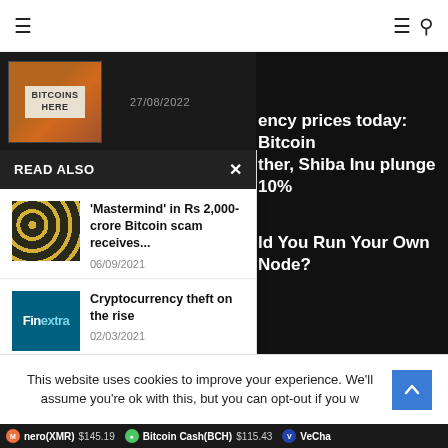Navigation bar with hamburger menu and search icon
[Figure (screenshot): Bitcoin sign image with 'BITCOINS HERE' text, dark background strip with date 27/08/2022]
ency prices today: Bitcoin ther, Shiba Inu plunge 10%
ld You Run Your Own Node?
READ ALSO
[Figure (photo): Bitcoin coins on dark background]
'Mastermind' in Rs 2,000-crore Bitcoin scam receives...
06/09/2021
[Figure (logo): Finextra logo - blue background with Finextra branding]
Cryptocurrency theft on the rise
02/03/2021
This website uses cookies to improve your experience. We'll assume you're ok with this, but you can opt-out if you w
nero(XMR) $145.19   Bitcoin Cash(BCH) $115.43   VeCha